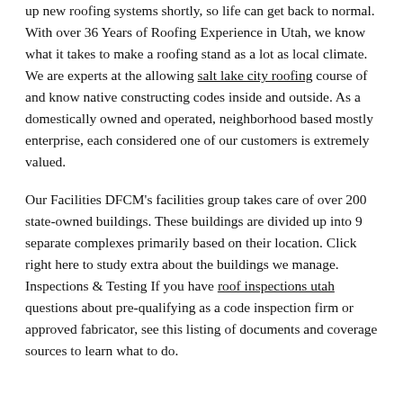up new roofing systems shortly, so life can get back to normal. With over 36 Years of Roofing Experience in Utah, we know what it takes to make a roofing stand as a lot as local climate. We are experts at the allowing salt lake city roofing course of and know native constructing codes inside and outside. As a domestically owned and operated, neighborhood based mostly enterprise, each considered one of our customers is extremely valued.
Our Facilities DFCM's facilities group takes care of over 200 state-owned buildings. These buildings are divided up into 9 separate complexes primarily based on their location. Click right here to study extra about the buildings we manage. Inspections & Testing If you have roof inspections utah questions about pre-qualifying as a code inspection firm or approved fabricator, see this listing of documents and coverage sources to learn what to do.